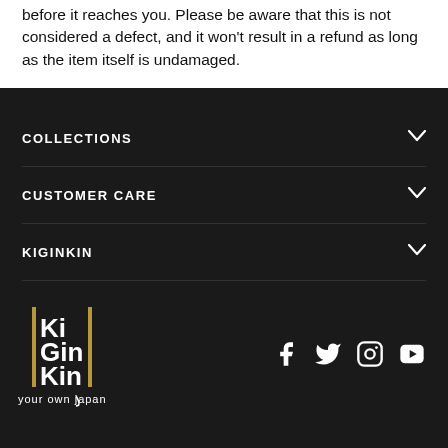before it reaches you. Please be aware that this is not considered a defect, and it won't result in a refund as long as the item itself is undamaged.
COLLECTIONS
CUSTOMER CARE
KIGINKIN
[Figure (logo): KiGinKin logo with vertical gold lines and text 'your own Japan']